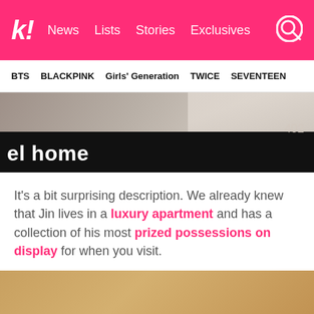k! News  Lists  Stories  Exclusives
BTS  BLACKPINK  Girls' Generation  TWICE  SEVENTEEN
[Figure (photo): Partial screenshot of a video thumbnail showing text 'el home' on a black bar, with the number 402 visible, and fabric/cloth in background]
It's a bit surprising description. We already knew that Jin lives in a luxury apartment and has a collection of his most prized possessions on display for when you visit.
[Figure (photo): Bottom portion of an image with a tan/golden brown gradient background, partially cropped]